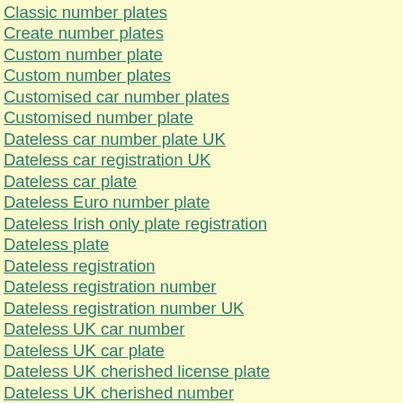Classic number plates
Create number plates
Custom number plate
Custom number plates
Customised car number plates
Customised number plate
Dateless car number plate UK
Dateless car registration UK
Dateless car plate
Dateless Euro number plate
Dateless Irish only plate registration
Dateless plate
Dateless registration
Dateless registration number
Dateless registration number UK
Dateless UK car number
Dateless UK car plate
Dateless UK cherished license plate
Dateless UK cherished number
Dateless UK cherished registration number
Design number own plate
Design number plates